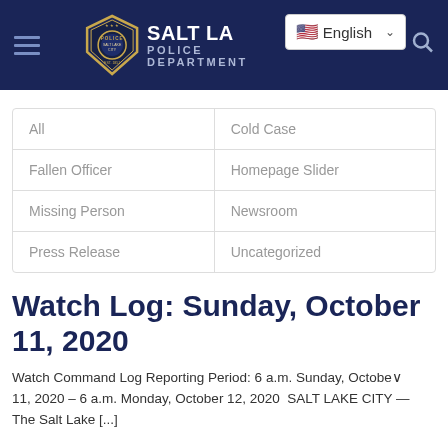[Figure (screenshot): Salt Lake City Police Department website header with dark navy background, hamburger menu, badge logo, department name, English language selector, and search icon]
| All | Cold Case |
| Fallen Officer | Homepage Slider |
| Missing Person | Newsroom |
| Press Release | Uncategorized |
Watch Log: Sunday, October 11, 2020
Watch Command Log Reporting Period: 6 a.m. Sunday, October 11, 2020 – 6 a.m. Monday, October 12, 2020   SALT LAKE CITY — The Salt Lake [...]